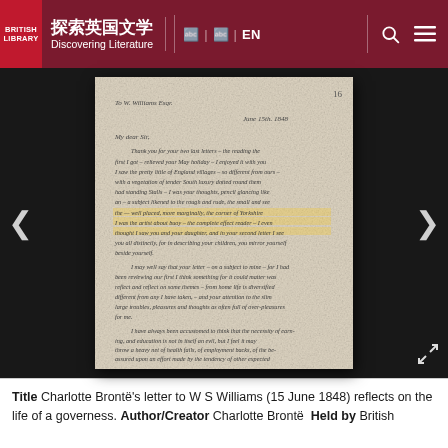探索英国文学 Discovering Literature | EN
[Figure (photo): Manuscript page of Charlotte Brontë's handwritten letter to W S Williams dated June 1848, showing cursive handwriting on aged paper, displayed against a black background with navigation arrows on left and right]
Title Charlotte Brontë's letter to W S Williams (15 June 1848) reflects on the life of a governess. Author/Creator Charlotte Brontë  Held by British